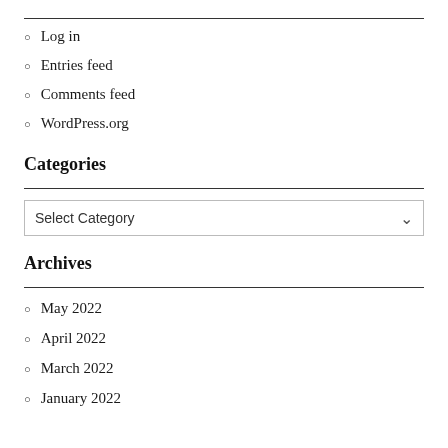Log in
Entries feed
Comments feed
WordPress.org
Categories
Select Category
Archives
May 2022
April 2022
March 2022
January 2022